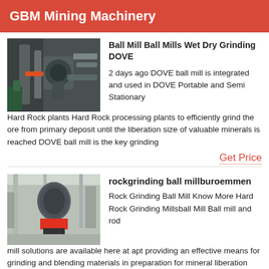GBM Mining Machinery
Ball Mill Ball Mills Wet Dry Grinding DOVE
[Figure (photo): Industrial ball mill machinery with pipes and equipment in a facility]
2 days ago DOVE ball mill is integrated and used in DOVE Portable and Semi Stationary Hard Rock plants Hard Rock processing plants to efficiently grind the ore from primary deposit until the liberation size of valuable minerals is reached DOVE ball mill is the key grinding
Get Price
rockgrinding ball millburoemmen
[Figure (photo): Large industrial rock grinding ball mill in a warehouse facility]
Rock Grinding Ball Mill Know More Hard Rock Grinding Millsball Mill Ball mill and rod mill solutions are available here at apt providing an effective means for grinding and blending materials in preparation for mineral liberation from rock to dust apt specifies and designs the